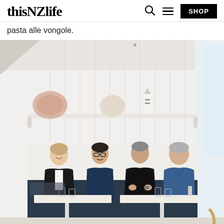thisNZlife
pasta alle vongole.
[Figure (photo): Four adults, two women and two men, seated along a white bench/booth in a white-paneled coastal cafe or restaurant interior. They are chatting and smiling. Above them is a white shelf with decorative items including a fan coral, a round shell-like object, and a lighthouse figurine. The rightmost side shows a bright window. The people are dressed in dark and blue tones. White tables are in front of them with glasses of water.]